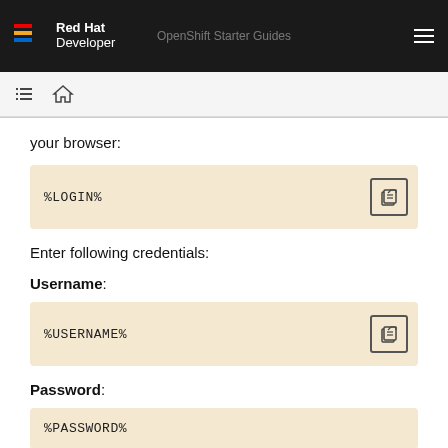Red Hat Developer | OpenShift Starter Guides
your browser:
%LOGIN%
Enter following credentials:
Username:
%USERNAME%
Password:
%PASSWORD%